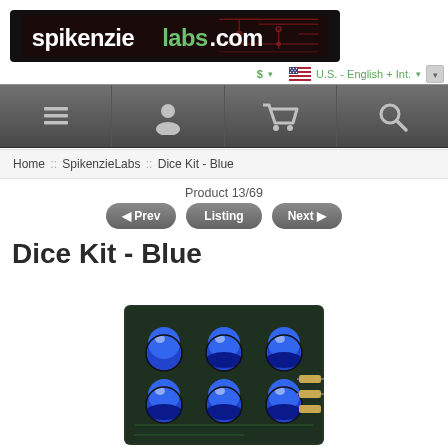[Figure (logo): SpikenzieLabs.com logo banner with circuit board background]
$ ▾   🇺🇸 U.S. - English + Int. ▾   ▾
[Figure (screenshot): Navigation bar with menu/list icon, user/person icon, shopping cart icon, and search/magnifying glass icon on dark grey background]
Home :: SpikenzieLabs :: Dice Kit - Blue
Product 13/69
◄ Prev   Listing   Next ►
Dice Kit - Blue
[Figure (photo): Photo of Dice Kit Blue - a small electronic PCB with 6 large blue dome LEDs arranged in a dice pattern, with resistors and components visible on a dark circuit board]